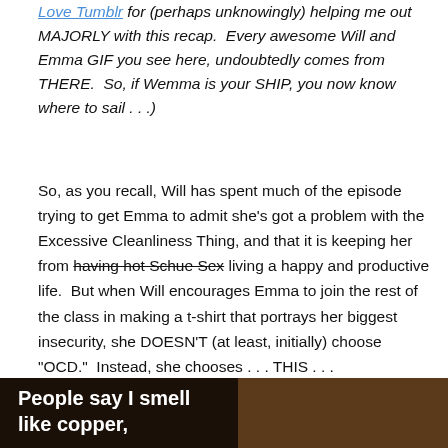Love Tumblr for (perhaps unknowingly) helping me out MAJORLY with this recap. Every awesome Will and Emma GIF you see here, undoubtedly comes from THERE. So, if Wemma is your SHIP, you now know where to sail . . .)
So, as you recall, Will has spent much of the episode trying to get Emma to admit she’s got a problem with the Excessive Cleanliness Thing, and that it is keeping her from having hot Schue Sex living a happy and productive life. But when Will encourages Emma to join the rest of the class in making a t-shirt that portrays her biggest insecurity, she DOESN’T (at least, initially) choose “OCD.” Instead, she chooses . . . THIS . . .
[Figure (screenshot): Dark-toned screenshot showing a woman with text overlay reading 'People say I smell like copper,']